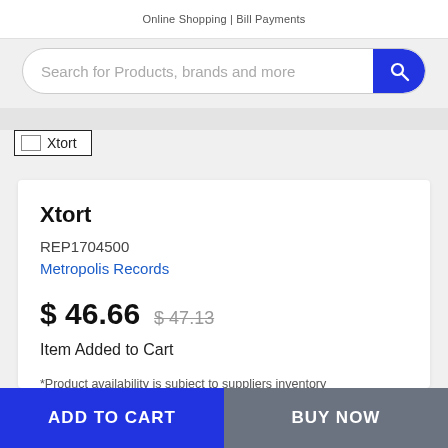Online Shopping | Bill Payments
Search for Products, brands and more
Xtort
Xtort
REP1704500
Metropolis Records
$ 46.66  $ 47.13
Item Added to Cart
*Product availability is subject to suppliers inventory
ADD TO CART
BUY NOW